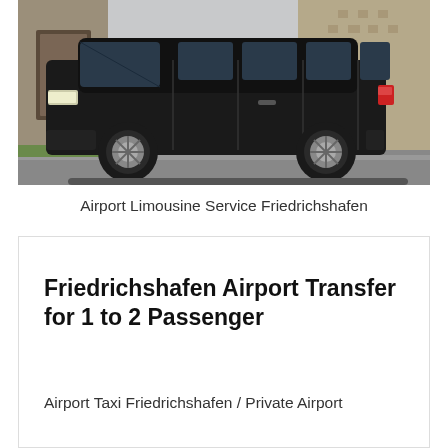[Figure (photo): Black Mercedes-Benz V-Class minivan parked in front of a building, side profile view showing the full vehicle with alloy wheels]
Airport Limousine Service Friedrichshafen
Friedrichshafen Airport Transfer for 1 to 2 Passenger
Airport Taxi Friedrichshafen / Private Airport